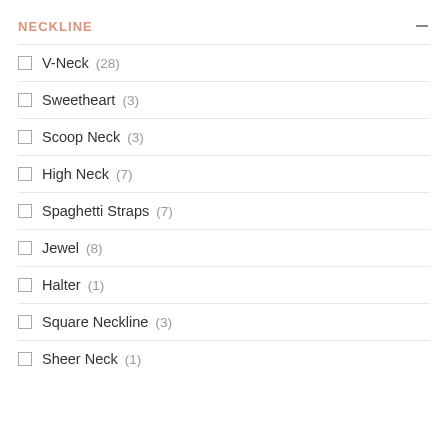NECKLINE
V-Neck (28)
Sweetheart (3)
Scoop Neck (3)
High Neck (7)
Spaghetti Straps (7)
Jewel (8)
Halter (1)
Square Neckline (3)
Sheer Neck (1)